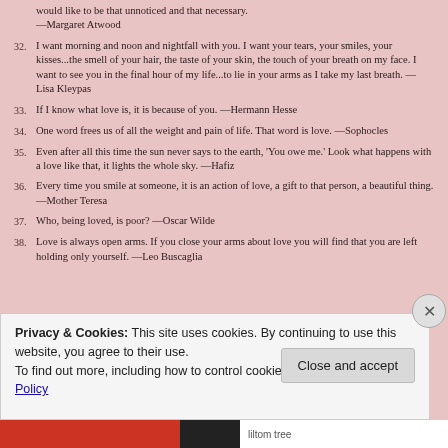31. I would like to be the air that inhabits you for a moment only. I would like to be that unnoticed and that necessary. —Margaret Atwood
32. I want morning and noon and nightfall with you. I want your tears, your smiles, your kisses...the smell of your hair, the taste of your skin, the touch of your breath on my face. I want to see you in the final hour of my life...to lie in your arms as I take my last breath. —Lisa Kleypas
33. If I know what love is, it is because of you. —Hermann Hesse
34. One word frees us of all the weight and pain of life. That word is love. —Sophocles
35. Even after all this time the sun never says to the earth, 'You owe me.' Look what happens with a love like that, it lights the whole sky. —Hafiz
36. Every time you smile at someone, it is an action of love, a gift to that person, a beautiful thing. —Mother Teresa
37. Who, being loved, is poor? —Oscar Wilde
38. Love is always open arms. If you close your arms about love you will find that you are left holding only yourself. —Leo Buscaglia
Privacy & Cookies: This site uses cookies. By continuing to use this website, you agree to their use. To find out more, including how to control cookies, see here: Cookie Policy
Close and accept